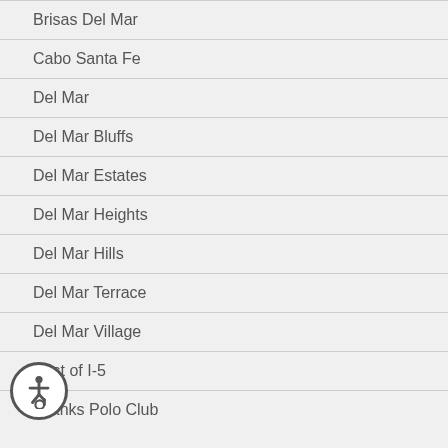Brisas Del Mar
Cabo Santa Fe
Del Mar
Del Mar Bluffs
Del Mar Estates
Del Mar Heights
Del Mar Hills
Del Mar Terrace
Del Mar Village
East of I-5
Fairbanks Polo Club